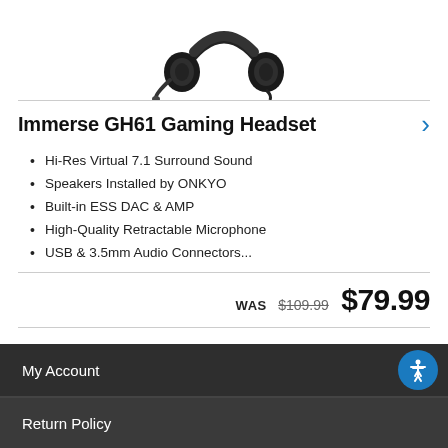[Figure (photo): Black gaming headset product photo, top cropped, showing ear cups and microphone boom against white background]
Immerse GH61 Gaming Headset
Hi-Res Virtual 7.1 Surround Sound
Speakers Installed by ONKYO
Built-in ESS DAC & AMP
High-Quality Retractable Microphone
USB & 3.5mm Audio Connectors...
WAS $109.99 $79.99
COMPARE   ADD TO CART
My Account
Return Policy